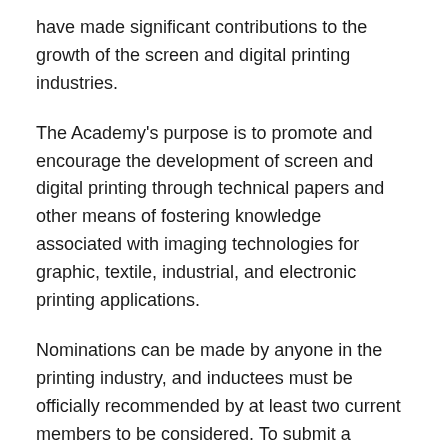have made significant contributions to the growth of the screen and digital printing industries.
The Academy's purpose is to promote and encourage the development of screen and digital printing through technical papers and other means of fostering knowledge associated with imaging technologies for graphic, textile, industrial, and electronic printing applications.
Nominations can be made by anyone in the printing industry, and inductees must be officially recommended by at least two current members to be considered. To submit a nomination, visit sgia.org/about/academy. The deadline for nominations is Aug. 1, 2021.
“It is a great pleasure to be able to recognize individuals for their contributions made towards the betterment of